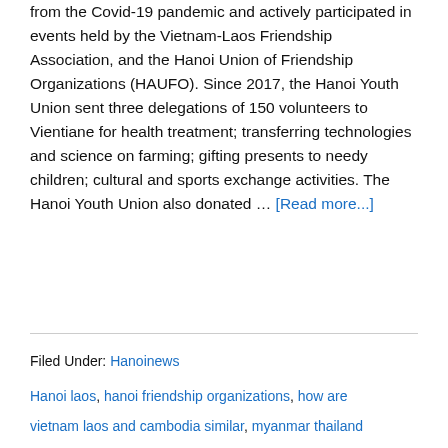from the Covid-19 pandemic and actively participated in events held by the Vietnam-Laos Friendship Association, and the Hanoi Union of Friendship Organizations (HAUFO). Since 2017, the Hanoi Youth Union sent three delegations of 150 volunteers to Vientiane for health treatment; transferring technologies and science on farming; gifting presents to needy children; cultural and sports exchange activities. The Hanoi Youth Union also donated … [Read more...]
Filed Under: Hanoinews
Hanoi laos, hanoi friendship organizations, how are vietnam laos and cambodia similar, myanmar thailand